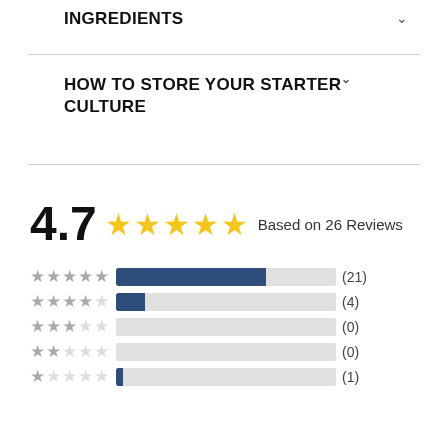INGREDIENTS
HOW TO STORE YOUR STARTER CULTURE
[Figure (infographic): Rating summary: 4.7 out of 5 stars based on 26 reviews, with bar chart breakdown: 5-star (21), 4-star (4), 3-star (0), 2-star (0), 1-star (1)]